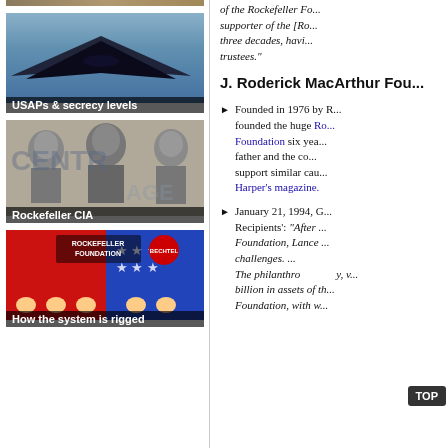[Figure (photo): Partial top strip image, brownish/tan landscape or ground]
[Figure (photo): Photo of a dark stealth aircraft (B-2 or F-117 style) against a blue sky]
USAPs & secrecy levels
[Figure (photo): Black and white photo of three men, associated with Rockefeller CIA]
Rockefeller CIA
[Figure (photo): Colorful political cartoon/collage showing Rockefeller Foundation and Bechtel logos with American flag imagery and caricatures]
How the system is rigged
of the Rockefeller Fo... supporter of the [Ro... three decades, havi... trustees."
J. Roderick MacArthur Fou...
Founded in 1976 by R... founded the huge Ro... Foundation six yea... father and the co... support similar caus... Harper's magazine.
January 21, 1994, G... Recipients': "After ... Foundation, Lance ... challenges. ... The philanthropy, v... billion in assets of th... Foundation, with w...